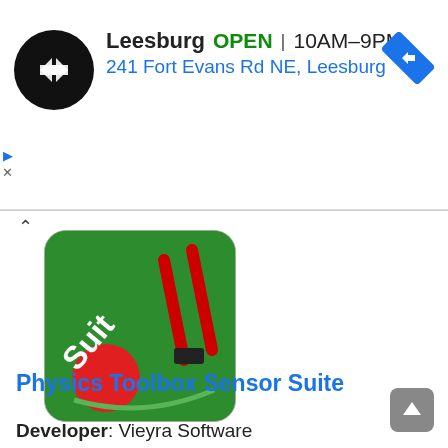[Figure (screenshot): Ad banner: Black circular logo with white double-arrow icon. Text: Leesburg OPEN 10AM–9PM / 241 Fort Evans Rd NE, Leesburg. Blue diamond navigation icon on right.]
[Figure (logo): Physics Toolbox Sensor Suite app icon: green background with billiard ball and measurement tools]
Physics Toolbox Sensor Suite
Developer: Vieyra Software